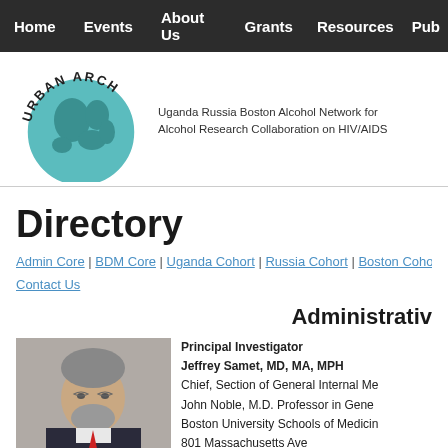Home | Events | About Us | Grants | Resources | Pub
[Figure (logo): Urban ARCH logo with globe and text: Uganda Russia Boston Alcohol Network for Alcohol Research Collaboration on HIV/AIDS]
Directory
Admin Core | BDM Core | Uganda Cohort | Russia Cohort | Boston Coho...
Contact Us
Administrativ
[Figure (photo): Photo of Jeffrey Samet, MD, MA, MPH - a middle-aged man with gray hair and beard wearing a suit]
Principal Investigator
Jeffrey Samet, MD, MA, MPH
Chief, Section of General Internal Me...
John Noble, M.D. Professor in Gene...
Boston University Schools of Medicin...
801 Massachusetts Ave
Crosstown, 2nd Floor